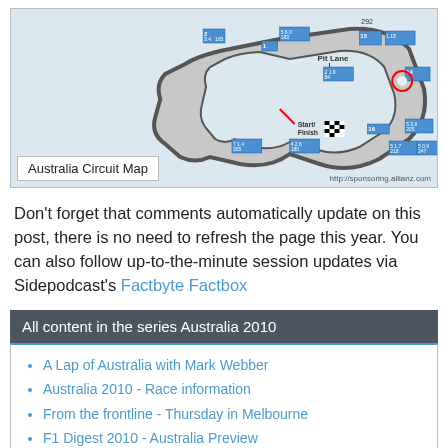[Figure (map): Australia Circuit Map showing the F1 track layout with corner numbers, G-force/speed data, pit lane, start/finish line, critical points, and legend. Credit: http://sponsoring.allianz.com]
Australia Circuit Map
Don't forget that comments automatically update on this post, there is no need to refresh the page this year. You can also follow up-to-the-minute session updates via Sidepodcast's Factbyte Factbox
All content in the series Australia 2010
A Lap of Australia with Mark Webber
Australia 2010 - Race information
From the frontline - Thursday in Melbourne
F1 Digest 2010 - Australia Preview
From the frontline - Friday in Melbourne
Australia 2010 - Free Practice 1
Australia 2010 - Free Practice 1 results
Australia 2010 - Free Practice 1 highlights
Australia 2010 - Free Practice 2
Australia 2010 - Free Practice 2 results